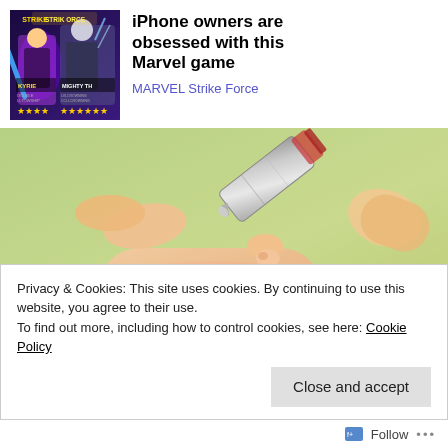[Figure (illustration): Advertisement banner: Marvel Strike Force game ad with superhero characters (KYRIE, MIGHTY TH...) and star ratings, alongside bold text 'iPhone owners are obsessed with this Marvel game' and link 'MARVEL Strike Force']
iPhone owners are obsessed with this Marvel game
MARVEL Strike Force
[Figure (photo): Close-up photo of a hand with a small tube applying something to a fingertip, green blurred background]
Privacy & Cookies: This site uses cookies. By continuing to use this website, you agree to their use.
To find out more, including how to control cookies, see here: Cookie Policy
Close and accept
Follow ...